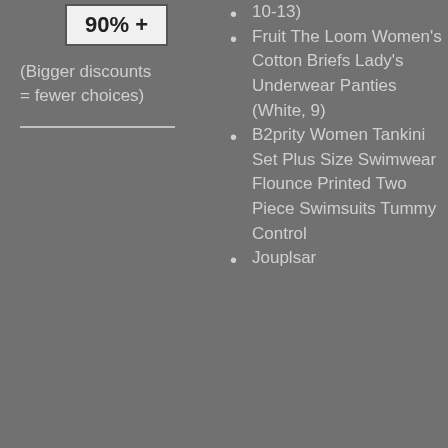[Figure (other): A discount filter button showing '90% +']
(Bigger discounts = fewer choices)
Fruit The Loom Women's Cotton Briefs Lady's Underwear Panties (White, 9)
B2prity Women Tankini Set Plus Size Swimwear Flounce Printed Two Piece Swimsuits Tummy Control
Jouplsar